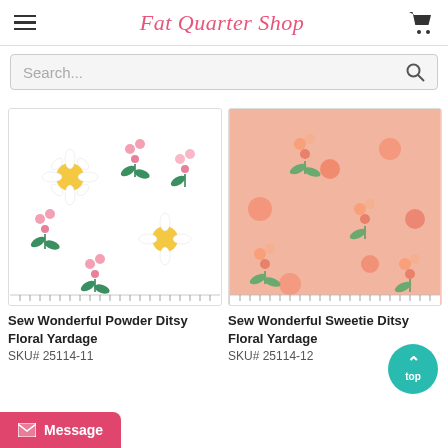Fat Quarter Shop
Search...
[Figure (photo): Sew Wonderful Powder Ditsy Floral Yardage fabric swatch on white background with pink flowers, green leaves, and yellow daisies, with ruler markings at bottom]
Sew Wonderful Powder Ditsy Floral Yardage
SKU# 25114-11
[Figure (photo): Sew Wonderful Sweetie Ditsy Floral Yardage fabric swatch on pink background with orange/peach flowers and green leaves, with ruler markings at bottom]
Sew Wonderful Sweetie Ditsy Floral Yardage
SKU# 25114-12